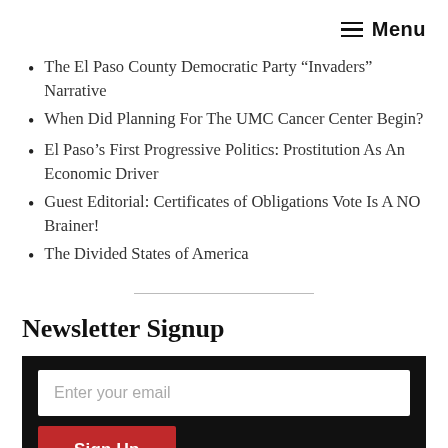Menu
The El Paso County Democratic Party “Invaders” Narrative
When Did Planning For The UMC Cancer Center Begin?
El Paso’s First Progressive Politics: Prostitution As An Economic Driver
Guest Editorial: Certificates of Obligations Vote Is A NO Brainer!
The Divided States of America
Newsletter Signup
Enter your email
Sign Up